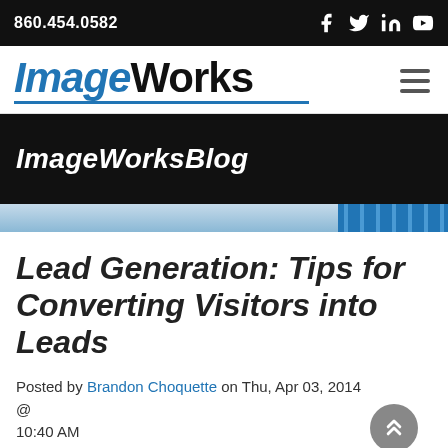860.454.0582
[Figure (logo): ImageWorks logo with blue 'Image' italic and black 'Works' bold text, blue underline]
ImageWorksBlog
[Figure (illustration): Decorative banner strip with blue gradient and checkered pattern]
Lead Generation: Tips for Converting Visitors into Leads
Posted by Brandon Choquette on Thu, Apr 03, 2014 @ 10:40 AM